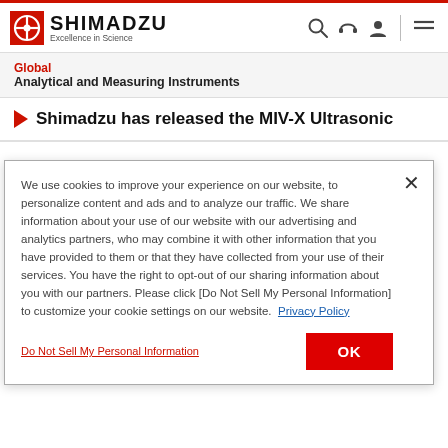[Figure (logo): Shimadzu logo with red circle-crosshair icon and text 'SHIMADZU Excellence in Science' with navigation icons (search, headset, user, menu)]
Global
Analytical and Measuring Instruments
Shimadzu has released the MIV-X Ultrasonic
We use cookies to improve your experience on our website, to personalize content and ads and to analyze our traffic. We share information about your use of our website with our advertising and analytics partners, who may combine it with other information that you have provided to them or that they have collected from your use of their services. You have the right to opt-out of our sharing information about you with our partners. Please click [Do Not Sell My Personal Information] to customize your cookie settings on our website.  Privacy Policy
Do Not Sell My Personal Information
OK